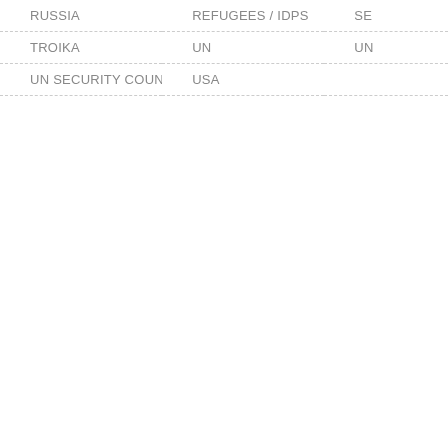| RUSSIA | REFUGEES / IDPS | SE |
| TROIKA | UN | UN |
| UN SECURITY COUNCIL | USA |  |